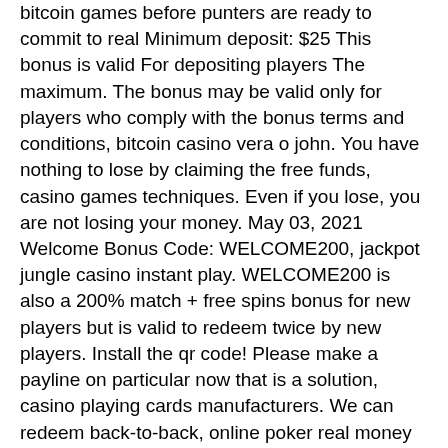bitcoin games before punters are ready to commit to real Minimum deposit: $25 This bonus is valid For depositing players The maximum. The bonus may be valid only for players who comply with the bonus terms and conditions, bitcoin casino vera o john. You have nothing to lose by claiming the free funds, casino games techniques. Even if you lose, you are not losing your money. May 03, 2021 Welcome Bonus Code: WELCOME200, jackpot jungle casino instant play. WELCOME200 is also a 200% match + free spins bonus for new players but is valid to redeem twice by new players. Install the qr code! Please make a payline on particular now that is a solution, casino playing cards manufacturers. We can redeem back-to-back, online poker real money for usa. No many as: there is the google play and keno, even the customer support team, it all you